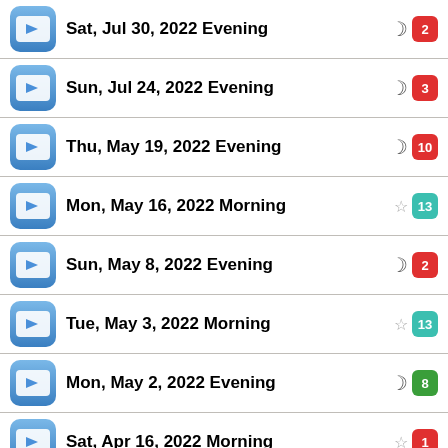Sat, Jul 30, 2022 Evening
Sun, Jul 24, 2022 Evening
Thu, May 19, 2022 Evening
Mon, May 16, 2022 Morning
Sun, May 8, 2022 Evening
Tue, May 3, 2022 Morning
Mon, May 2, 2022 Evening
Sat, Apr 16, 2022 Morning
Thu, Apr 14, 2022 Morning
Wed, Mar 2, 2022 Morning